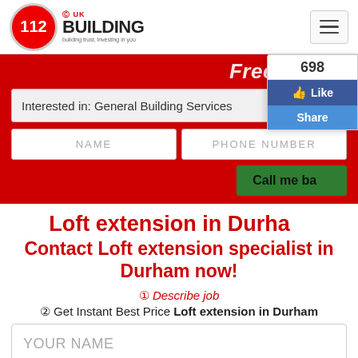[Figure (logo): 112 Building co.uk logo with red circle and tagline 'building trust, investing in you']
Free quote:
Interested in: General Building Services
NAME
PHONE NUMBER
Call me back
698
Like
Share
Loft extension in Durham
Contact Loft extension specialist in Durham now!
① Describe job
② Get Instant Best Price Loft extension in Durham
YOUR NAME